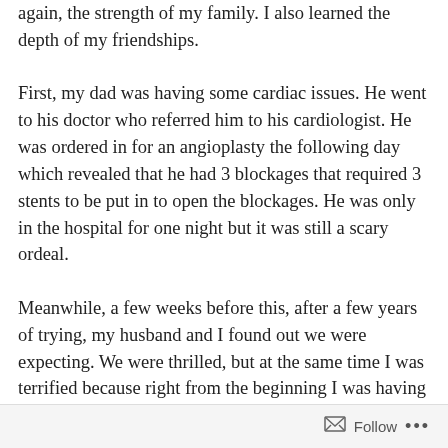again, the strength of my family. I also learned the depth of my friendships. First, my dad was having some cardiac issues. He went to his doctor who referred him to his cardiologist. He was ordered in for an angioplasty the following day which revealed that he had 3 blockages that required 3 stents to be put in to open the blockages. He was only in the hospital for one night but it was still a scary ordeal. Meanwhile, a few weeks before this, after a few years of trying, my husband and I found out we were expecting. We were thrilled, but at the same time I was terrified because right from the beginning I was having complications. Each day I would start out so positive and then by the end of the day I would be crying myself to sleep. I had ultrasound and doctors appointments and some were hopeful. Some weren't.
Follow